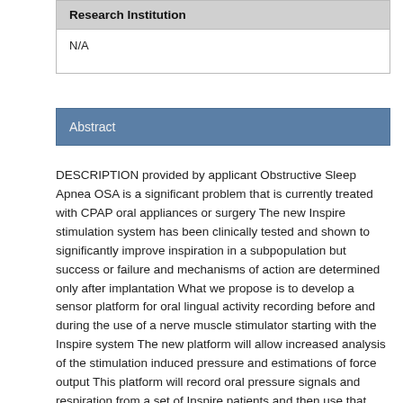| Research Institution |
| --- |
| N/A |
Abstract
DESCRIPTION provided by applicant Obstructive Sleep Apnea OSA is a significant problem that is currently treated with CPAP oral appliances or surgery The new Inspire stimulation system has been clinically tested and shown to significantly improve inspiration in a subpopulation but success or failure and mechanisms of action are determined only after implantation What we propose is to develop a sensor platform for oral lingual activity recording before and during the use of a nerve muscle stimulator starting with the Inspire system The new platform will allow increased analysis of the stimulation induced pressure and estimations of force output This platform will record oral pressure signals and respiration from a set of Inspire patients and then use that data to develop an algorithm to predict oro and nasopharyngeal airway opening